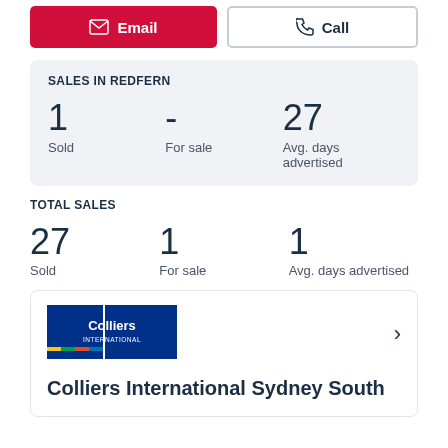Email | Call
SALES IN REDFERN
1 Sold | - For sale | 27 Avg. days advertised
TOTAL SALES
27 Sold | 1 For sale | 1 Avg. days advertised
[Figure (logo): Colliers International logo — dark blue background with white 'Colliers INTERNATIONAL' text and colorful horizontal stripes]
Colliers International Sydney South